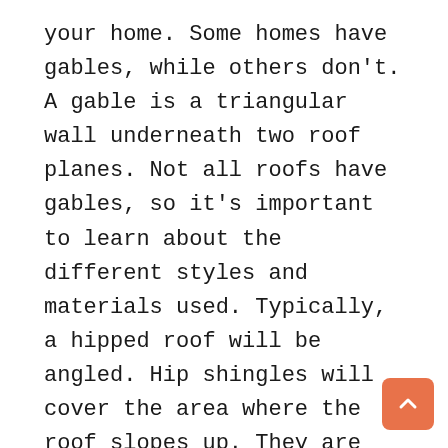your home. Some homes have gables, while others don't. A gable is a triangular wall underneath two roof planes. Not all roofs have gables, so it's important to learn about the different styles and materials used. Typically, a hipped roof will be angled. Hip shingles will cover the area where the roof slopes up. They are called hip shingles.
Roof decking is another type of roofing material. This is made of wood boards that support the roof structure. Generally, OSB is lighter and cheaper, but plywood is more durable. Roofing decking is the surface to which the various roofing materials adhere. Some roof decking is actually made of plywood, while some are made